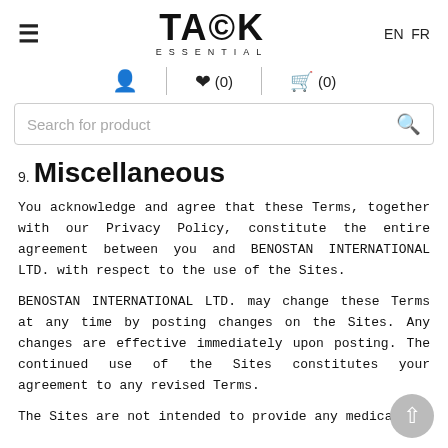TASK ESSENTIAL | EN FR
[Figure (screenshot): Navigation icons: user account, wishlist (0), shopping basket (0)]
[Figure (screenshot): Search bar with placeholder text 'Search for product' and a search icon]
9. Miscellaneous
You acknowledge and agree that these Terms, together with our Privacy Policy, constitute the entire agreement between you and BENOSTAN INTERNATIONAL LTD. with respect to the use of the Sites.
BENOSTAN INTERNATIONAL LTD. may change these Terms at any time by posting changes on the Sites. Any changes are effective immediately upon posting. The continued use of the Sites constitutes your agreement to any revised Terms.
The Sites are not intended to provide any medical